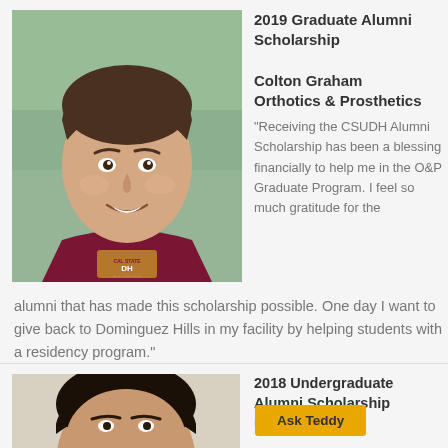[Figure (photo): Headshot of Colton Graham, a young man wearing a dark maroon CSUDH polo shirt with CAL STATE DH logo, smiling outdoors]
2019 Graduate Alumni Scholarship
Colton Graham
Orthotics & Prosthetics
"Receiving the CSUDH Alumni Scholarship has been a blessing financially to help me in the O&P Graduate Program. I feel so much gratitude for the alumni that has made this scholarship possible. One day I want to give back to Dominguez Hills in my facility by helping students with a residency program."
[Figure (photo): Partial headshot of a second scholarship recipient (bottom of page, cropped)]
2018 Undergraduate Alumni Scholarship
Nguyen